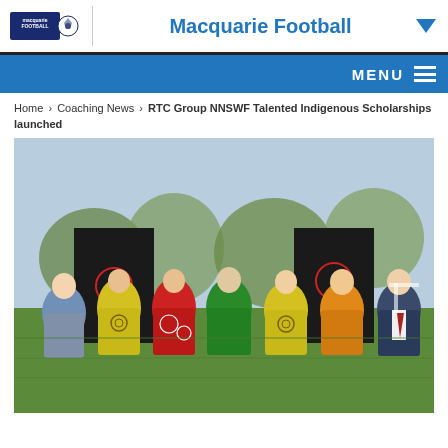Macquarie Football
MENU
Home › Coaching News › RTC Group NNSWF Talented Indigenous Scholarships launched
[Figure (photo): Group photo of six young footballers in colourful indigenous-design jerseys (yellow, red, green) standing on a football pitch with two adults, one female in grey and one male in a suit, in front of two dark pull-up banners bearing the Football Australia logo.]